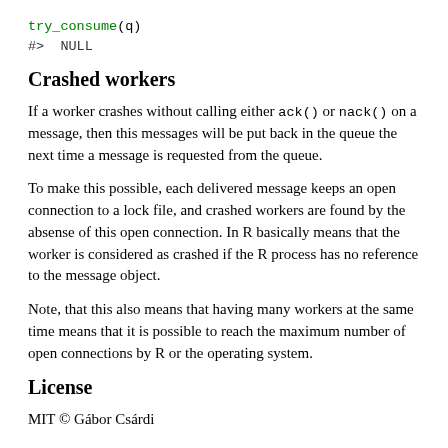try_consume(q)
#>  NULL
Crashed workers
If a worker crashes without calling either ack() or nack() on a message, then this messages will be put back in the queue the next time a message is requested from the queue.
To make this possible, each delivered message keeps an open connection to a lock file, and crashed workers are found by the absense of this open connection. In R basically means that the worker is considered as crashed if the R process has no reference to the message object.
Note, that this also means that having many workers at the same time means that it is possible to reach the maximum number of open connections by R or the operating system.
License
MIT © Gábor Csárdi